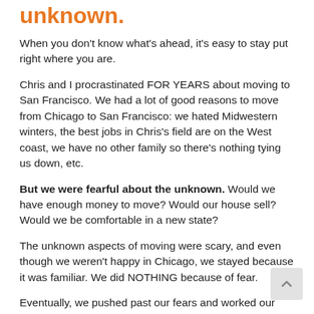unknown.
When you don't know what's ahead, it's easy to stay put right where you are.
Chris and I procrastinated FOR YEARS about moving to San Francisco. We had a lot of good reasons to move from Chicago to San Francisco: we hated Midwestern winters, the best jobs in Chris's field are on the West coast, we have no other family so there's nothing tying us down, etc.
But we were fearful about the unknown. Would we have enough money to move? Would our house sell? Would we be comfortable in a new state?
The unknown aspects of moving were scary, and even though we weren't happy in Chicago, we stayed because it was familiar. We did NOTHING because of fear.
Eventually, we pushed past our fears and worked our